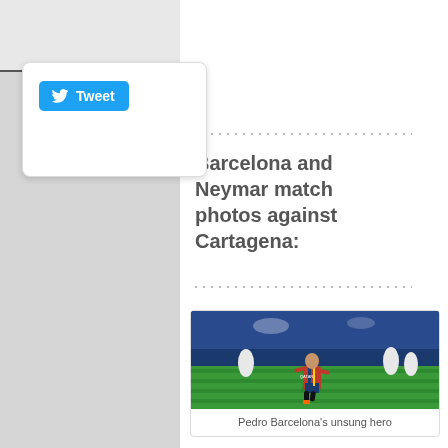Go To...
[Figure (screenshot): Tweet button widget in a white rounded box]
Barcelona and Neymar match photos against Cartagena:
[Figure (photo): Pedro, FC Barcelona player in red and blue striped kit with QATAR sponsor, celebrating on green football pitch with crowd in background]
Pedro Barcelona's unsung hero